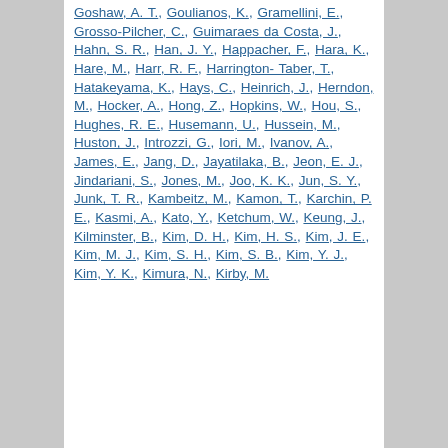Goshaw, A. T., Goulianos, K., Gramellini, E., Grosso-Pilcher, C., Guimaraes da Costa, J., Hahn, S. R., Han, J. Y., Happacher, F., Hara, K., Hare, M., Harr, R. F., Harrington-Taber, T., Hatakeyama, K., Hays, C., Heinrich, J., Herndon, M., Hocker, A., Hong, Z., Hopkins, W., Hou, S., Hughes, R. E., Husemann, U., Hussein, M., Huston, J., Introzzi, G., Iori, M., Ivanov, A., James, E., Jang, D., Jayatilaka, B., Jeon, E. J., Jindariani, S., Jones, M., Joo, K. K., Jun, S. Y., Junk, T. R., Kambeitz, M., Kamon, T., Karchin, P. E., Kasmi, A., Kato, Y., Ketchum, W., Keung, J., Kilminster, B., Kim, D. H., Kim, H. S., Kim, J. E., Kim, M. J., Kim, S. H., Kim, S. B., Kim, Y. J., Kim, Y. K., Kimura, N., Kirby, M.